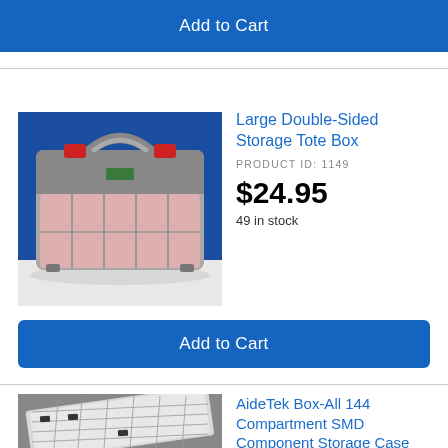[Figure (screenshot): Blue 'Add to Cart' button at top of page]
[Figure (photo): Large Double-Sided Storage Tote Box product photo — grey plastic tool case with red latches and transparent compartments on blue background]
Large Double-Sided Storage Tote Box
PRODUCT ID: 1149
$24.95
49 in stock
[Figure (screenshot): Blue 'Add to Cart' button]
[Figure (photo): AideTek Box-All 144 Compartment SMD Component Storage Case product photo — white grid-style compartment trays on grey background]
AideTek Box-All 144 Compartment SMD Component Storage Case
PRODUCT ID: 5242
$34.95